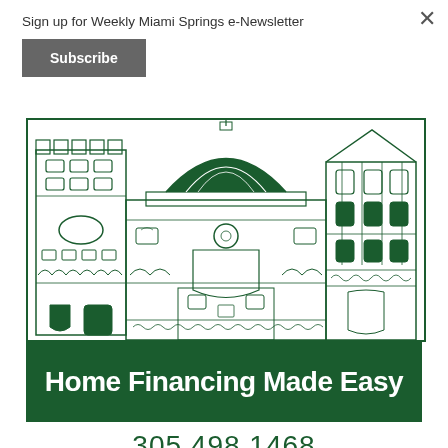Sign up for Weekly Miami Springs e-Newsletter
Subscribe
[Figure (illustration): Architectural line drawing of classical/Mediterranean buildings with dome, towers, and arched windows in dark green and white]
Home Financing Made Easy
305.498.1468
NMLS #382903